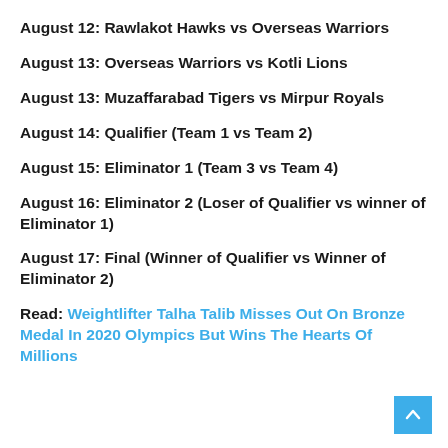August 12: Rawlakot Hawks vs Overseas Warriors
August 13: Overseas Warriors vs Kotli Lions
August 13: Muzaffarabad Tigers vs Mirpur Royals
August 14: Qualifier (Team 1 vs Team 2)
August 15: Eliminator 1 (Team 3 vs Team 4)
August 16: Eliminator 2 (Loser of Qualifier vs winner of Eliminator 1)
August 17: Final (Winner of Qualifier vs Winner of Eliminator 2)
Read: Weightlifter Talha Talib Misses Out On Bronze Medal In 2020 Olympics But Wins The Hearts Of Millions